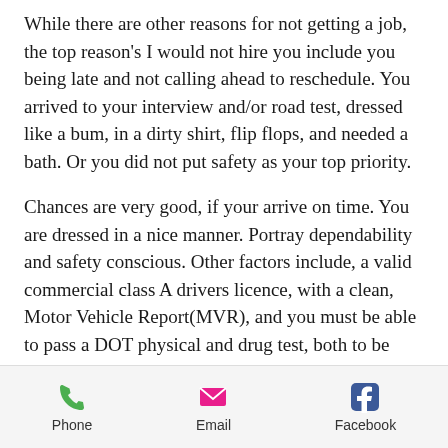While there are other reasons for not getting a job, the top reason's I would not hire you include you being late and not calling ahead to reschedule. You arrived to your interview and/or road test, dressed like a bum, in a dirty shirt, flip flops, and needed a bath. Or you did not put safety as your top priority.
Chances are very good, if your arrive on time. You are dressed in a nice manner. Portray dependability and safety conscious. Other factors include, a valid commercial class A drivers licence, with a clean, Motor Vehicle Report(MVR), and you must be able to pass a DOT physical and drug test, both to be given before you are officially hired.
Phone   Email   Facebook